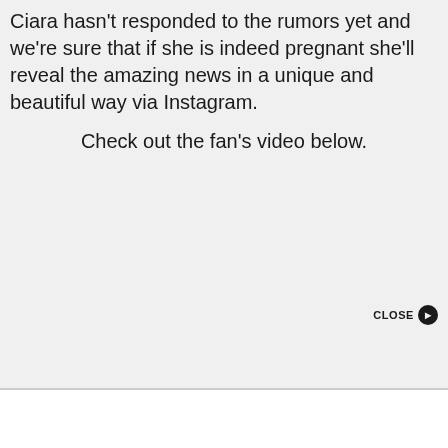Ciara hasn't responded to the rumors yet and we're sure that if she is indeed pregnant she'll reveal the amazing news in a unique and beautiful way via Instagram.
Check out the fan's video below.
CLOSE